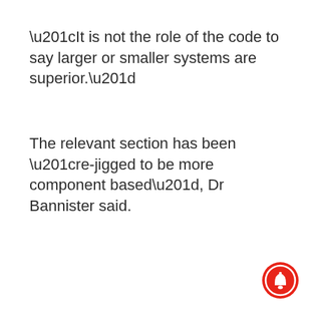“It is not the role of the code to say larger or smaller systems are superior.”
The relevant section has been “re-jigged to be more component based”, Dr Bannister said.
[Figure (other): Red circular notification bell button icon in the bottom-right corner]